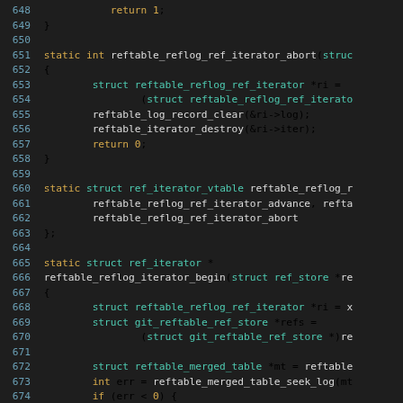[Figure (screenshot): Source code viewer showing C code lines 648-678 with syntax highlighting on a dark background. Keywords and return values are highlighted in orange/yellow, type names in teal/green, and regular code in light gray.]